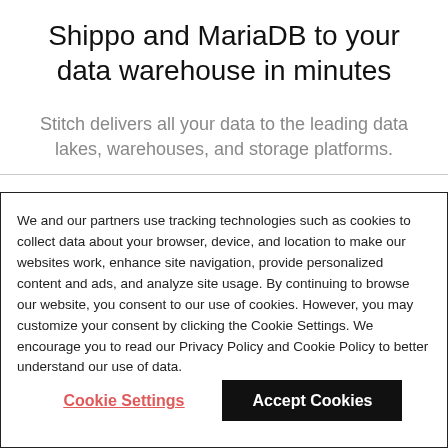Shippo and MariaDB to your data warehouse in minutes
Stitch delivers all your data to the leading data lakes, warehouses, and storage platforms.
We and our partners use tracking technologies such as cookies to collect data about your browser, device, and location to make our websites work, enhance site navigation, provide personalized content and ads, and analyze site usage. By continuing to browse our website, you consent to our use of cookies. However, you may customize your consent by clicking the Cookie Settings. We encourage you to read our Privacy Policy and Cookie Policy to better understand our use of data.